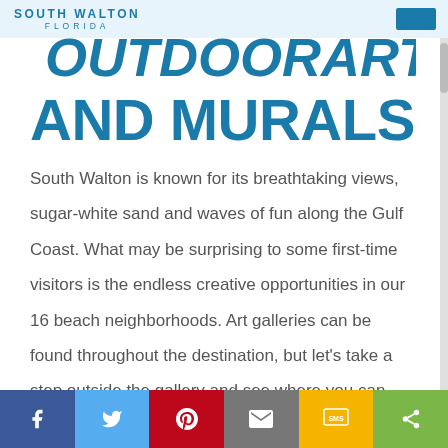SOUTH WALTON FLORIDA
AND MURALS
South Walton is known for its breathtaking views, sugar-white sand and waves of fun along the Gulf Coast. What may be surprising to some first-time visitors is the endless creative opportunities in our 16 beach neighborhoods. Art galleries can be found throughout the destination, but let's take a step outside the gallery and see where you can enjoy some of South